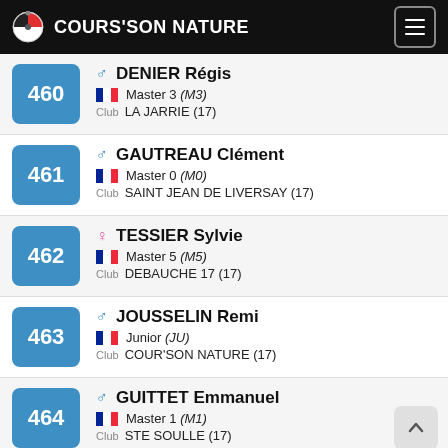COURS'SON NATURE
460 — DENIER Régis, Male, Master 3 (M3), Club: LA JARRIE (17)
461 — GAUTREAU Clément, Male, Master 0 (M0), Club: SAINT JEAN DE LIVERSAY (17)
462 — TESSIER Sylvie, Female, Master 5 (M5), Club: DEBAUCHE 17 (17)
463 — JOUSSELIN Remi, Male, Junior (JU), Club: COUR'SON NATURE (17)
464 — GUITTET Emmanuel, Male, Master 1 (M1), Club: STE SOULLE (17)